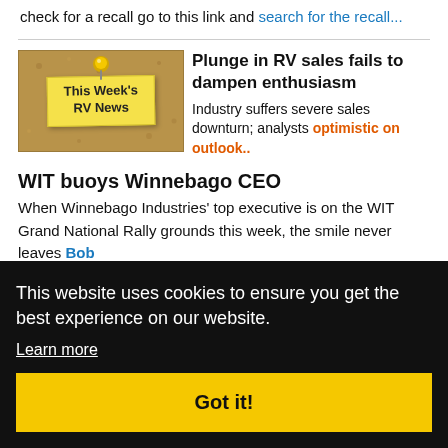check for a recall go to this link and search for the recall...
[Figure (illustration): Bulletin board with a yellow sticky note pinned with a push pin reading 'This Week's RV News']
Plunge in RV sales fails to dampen enthusiasm
Industry suffers severe sales downturn; analysts optimistic on outlook..
WIT buoys Winnebago CEO
When Winnebago Industries' top executive is on the WIT Grand National Rally grounds this week, the smile never leaves Bob
ave
Book
riving
This website uses cookies to ensure you get the best experience on our website. Learn more Got it!
techniques for beginners to experienced drivers. It takes